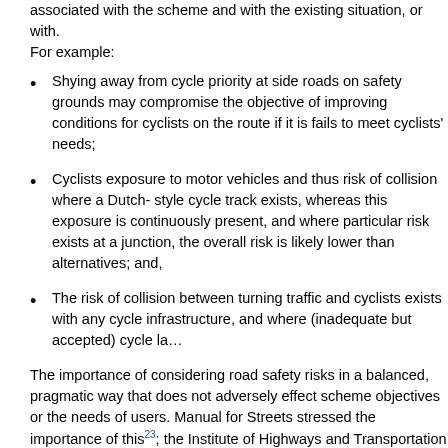associated with the scheme and with the existing situation, or with. For example:
Shying away from cycle priority at side roads on safety grounds may compromise the objective of improving conditions for cyclists on the route if it is fails to meet cyclists' needs;
Cyclists exposure to motor vehicles and thus risk of collision where a Dutch-style cycle track exists, whereas this exposure is continuous and where particular risk exists at a junction, the overall risk is likely lower than alternatives; and,
The risk of collision between turning traffic and cyclists exists with any cycle infrastructure, and where (inadequate but accepted) cycle la
The importance of considering road safety risks in a balanced, pragmatic way that does not adversely effect scheme objectives or the needs of users. Manual for Streets stressed the importance of this23; the Institute of Highways and Transportation guidance also gives some guidance of note, in response to changes attitudes to risk, similar to those advocated by Manual for Streets24. Perhaps an update is due, and in particular that Road Safety Audit has, in the UK, completely failed